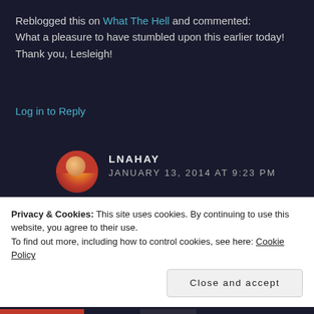Reblogged this on What The Hell and commented:
What a pleasure to have stumbled upon this earlier today! Thank you, Lesleigh!
Log in to Reply
LNAHAY
JANUARY 13, 2014 AT 9:23 PM
You're welcome! Thank you for writing Yesterday Road! 🙂
Log in to Reply
Privacy & Cookies: This site uses cookies. By continuing to use this website, you agree to their use.
To find out more, including how to control cookies, see here: Cookie Policy
Close and accept